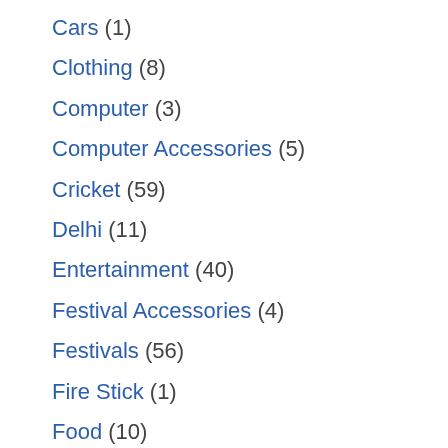Cars (1)
Clothing (8)
Computer (3)
Computer Accessories (5)
Cricket (59)
Delhi (11)
Entertainment (40)
Festival Accessories (4)
Festivals (56)
Fire Stick (1)
Food (10)
Football (2)
Freedom Fighters (1)
General (45)